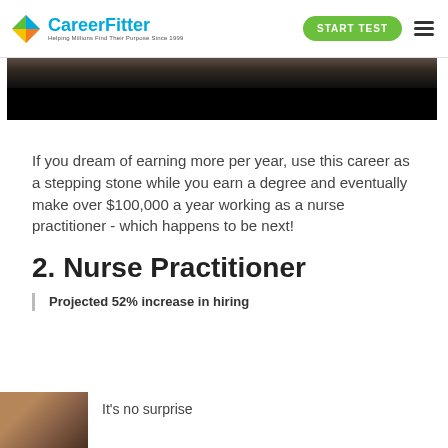CareerFitter — Helping Millions Find Their Purpose Since 1999 | START TEST
[Figure (photo): Partial image of two people, dark background, appears to be a healthcare or personal scene, mostly black at the bottom.]
If you dream of earning more per year, use this career as a stepping stone while you earn a degree and eventually make over $100,000 a year working as a nurse practitioner - which happens to be next!
2. Nurse Practitioner
Projected 52% increase in hiring
[Figure (photo): Partial photo of a person, bottom-left corner of the page.]
It's no surprise